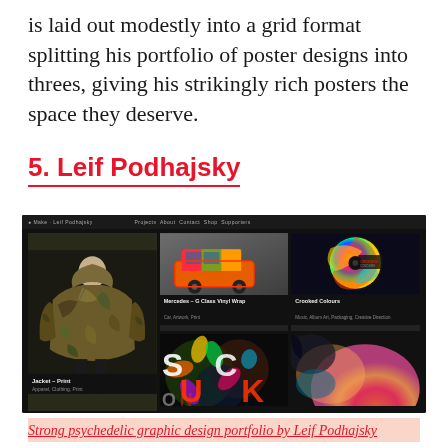is laid out modestly into a grid format splitting his portfolio of poster designs into threes, giving his strikingly rich posters the space they deserve.
5. Leif Podhajsky
[Figure (screenshot): Screenshot of Leif Podhajsky's portfolio website showing a dark-themed grid layout with three columns. Visible items include: Mercedes G Class Vinyl Wrap (colorful orange/green SUV), a psychedelic jacket print worn by a model, Crooked Colours album art (colorful circular design), a SUCK ON typography piece with floral psychedelic art, and a partial coral/pink abstract piece.]
Strong psychedelic graphic design portfolio by Leif Podhajsky